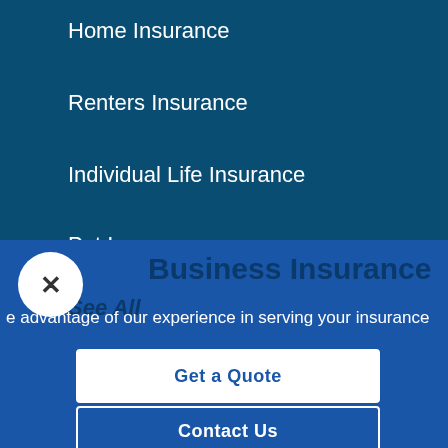Home Insurance
Renters Insurance
Individual Life Insurance
Pet Insurance
See All
Business Insurance
e advantage of our experience in serving your insurance
Get a Quote
Contact Us